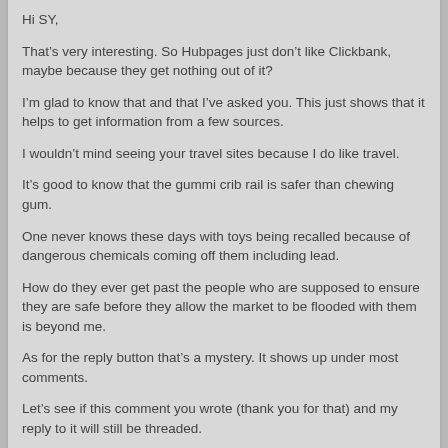Hi SY,
That's very interesting. So Hubpages just don't like Clickbank, maybe because they get nothing out of it?
I'm glad to know that and that I've asked you. This just shows that it helps to get information from a few sources.
I wouldn't mind seeing your travel sites because I do like travel.
It's good to know that the gummi crib rail is safer than chewing gum.
One never knows these days with toys being recalled because of dangerous chemicals coming off them including lead.
How do they ever get past the people who are supposed to ensure they are safe before they allow the market to be flooded with them is beyond me.
As for the reply button that's a mystery. It shows up under most comments.
Let's see if this comment you wrote (thank you for that) and my reply to it will still be threaded.
Vance
Vance Reply:
January 21st, 2010 at 11:35 am